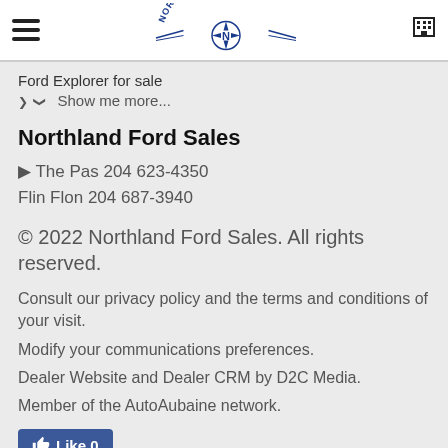Northland Ford — Navigation header with logo
Ford Explorer for sale
Show me more...
Northland Ford Sales
The Pas 204 623-4350
Flin Flon 204 687-3940
© 2022 Northland Ford Sales. All rights reserved.
Consult our privacy policy and the terms and conditions of your visit.
Modify your communications preferences.
Dealer Website and Dealer CRM by D2C Media.
Member of the AutoAubaine network.